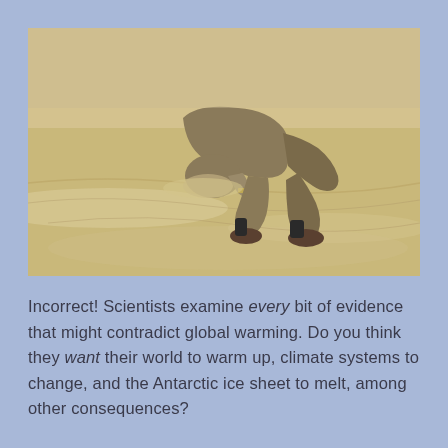[Figure (photo): A person kneeling on sandy ground with their head buried in the sand, wearing khaki/brown clothing and shoes, photographed outdoors on a sandy beach or desert surface.]
Incorrect! Scientists examine every bit of evidence that might contradict global warming. Do you think they want their world to warm up, climate systems to change, and the Antarctic ice sheet to melt, among other consequences?